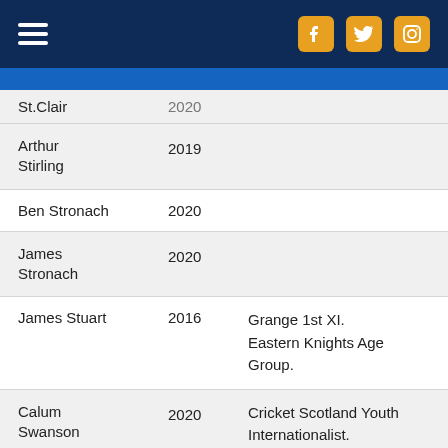Navigation header with hamburger menu and social icons (Facebook, Twitter, Instagram)
| Name | Year | Notes |
| --- | --- | --- |
| St. Clair | 2020 |  |
| Arthur Stirling | 2019 |  |
| Ben Stronach | 2020 |  |
| James Stronach | 2020 |  |
| James Stuart | 2016 | Grange 1st XI. Eastern Knights Age Group. |
| Calum Swanson | 2020 | Cricket Scotland Youth Internationalist. Grange 1st XI. Eastern Knights Age Group. |